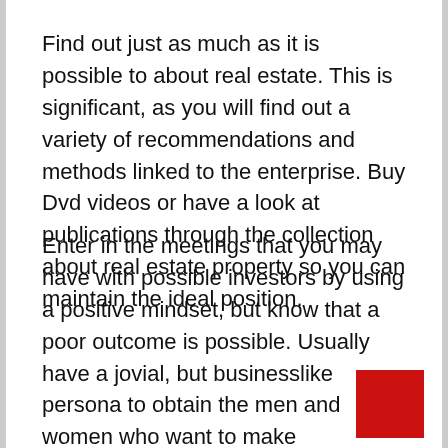Find out just as much as it is possible to about real estate. This is significant, as you will find out a variety of recommendations and methods linked to the enterprise. Buy Dvd videos or have a look at publications through the collection about real estate property so you can maintain the ideal position.
Enter in the meetings that you may have with possible investors by using a positive mindset, but know that a poor outcome is possible. Usually have a jovial, but businesslike persona to obtain the men and women who want to make investments to adore you. This will likely significantly help and then make your prospective brokers more comfortable.
[Figure (other): Red square decorative element in bottom-right corner]